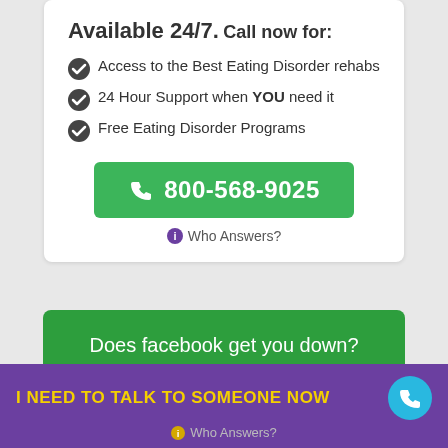Available 24/7.
Call now for:
Access to the Best Eating Disorder rehabs
24 Hour Support when YOU need it
Free Eating Disorder Programs
800-568-9025
Who Answers?
Does facebook get you down?
+sg will pick you up!
I NEED TO TALK TO SOMEONE NOW
Who Answers?